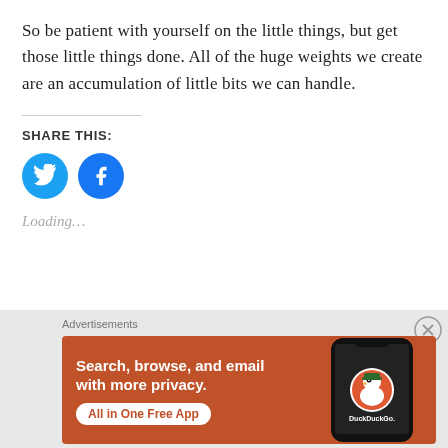So be patient with yourself on the little things, but get those little things done. All of the huge weights we create are an accumulation of little bits we can handle.
SHARE THIS:
[Figure (illustration): Two circular social media share buttons: Twitter (blue bird icon) and Facebook (blue f icon)]
Loading…
[Figure (illustration): DuckDuckGo advertisement banner on gray background. Orange/red background with white bold text: 'Search, browse, and email with more privacy. All in One Free App' and DuckDuckGo logo with a phone graphic.]